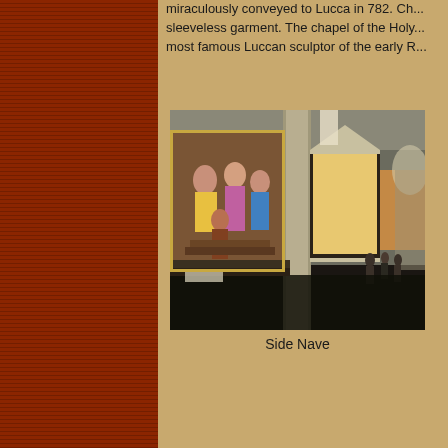miraculously conveyed to Lucca in 782. Ch... sleeveless garment. The chapel of the Holy... most famous Luccan sculptor of the early R...
[Figure (photo): Interior view of a church side nave with large religious paintings on marble altarpieces along the wall, arched ceiling, and visitors in the background.]
Side Nave